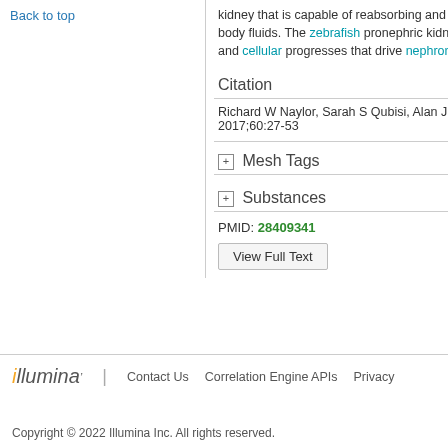Back to top
kidney that is capable of reabsorbing and body fluids. The zebrafish pronephric kidn and cellular progresses that drive nephron
Citation
Richard W Naylor, Sarah S Qubisi, Alan J 2017;60:27-53
Mesh Tags
Substances
PMID: 28409341
View Full Text
illumina | Contact Us  Correlation Engine APIs  Privacy
Copyright © 2022 Illumina Inc. All rights reserved.